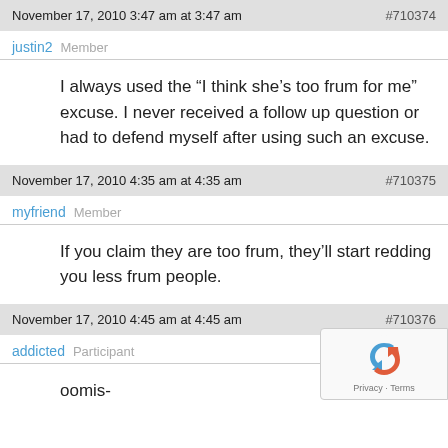November 17, 2010 3:47 am at 3:47 am  #710374
justin2  Member
I always used the “I think she’s too frum for me” excuse. I never received a follow up question or had to defend myself after using such an excuse.
November 17, 2010 4:35 am at 4:35 am  #710375
myfriend  Member
If you claim they are too frum, they’ll start redding you less frum people.
November 17, 2010 4:45 am at 4:45 am  #710376
addicted  Participant
oomis-